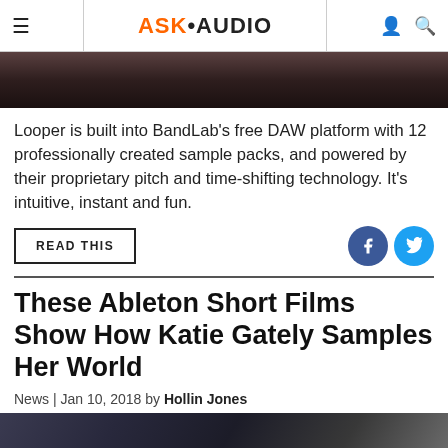ASK·AUDIO
[Figure (photo): Partial photo at top of page, dark background]
Looper is built into BandLab's free DAW platform with 12 professionally created sample packs, and powered by their proprietary pitch and time-shifting technology. It's intuitive, instant and fun.
READ THIS
These Ableton Short Films Show How Katie Gately Samples Her World
News | Jan 10, 2018 by Hollin Jones
[Figure (photo): Partial photo at bottom of page showing Katie Gately in a studio setting]